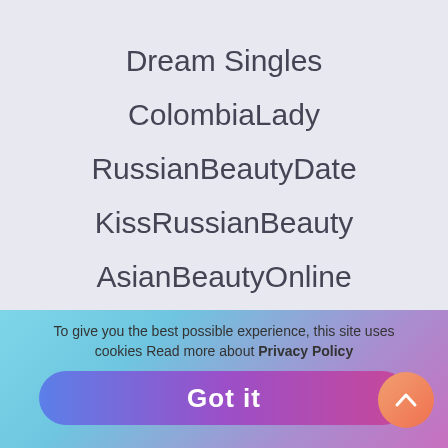CharmDate
Dream Singles
ColombiaLady
RussianBeautyDate
KissRussianBeauty
AsianBeautyOnline
AsianLadyOnline
Find-bride
To give you the best possible experience, this site uses cookies Read more about Privacy Policy
Got it